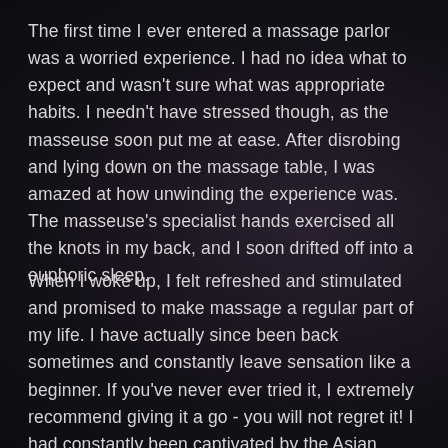The first time I ever entered a massage parlor was a worried experience. I had no idea what to expect and wasn't sure what was appropriate habits. I needn't have stressed though, as the masseuse soon put me at ease. After disrobing and lying down on the massage table, I was amazed at how unwinding the experience was. The masseuse's specialist hands exercised all the knots in my back, and I soon drifted off into a euphoric sleep.
When I woke up, I felt refreshed and stimulated and promised to make massage a regular part of my life. I have actually since been back sometimes and constantly leave sensation like a beginner. If you've never ever tried it, I extremely recommend giving it a go - you will not regret it! I had constantly been captivated by the Asian massage parlors that were popping up everywhere. I had actually never ever been to one, however I had heard stories. I chose to lastly start and go to one. I strolled in and was